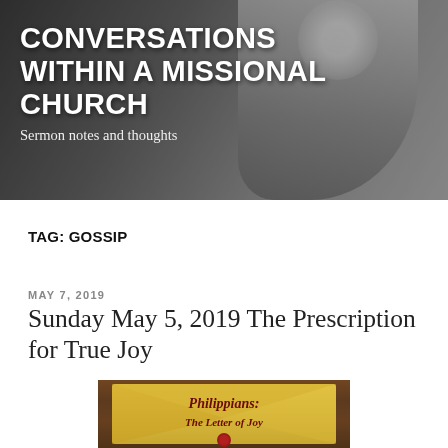CONVERSATIONS WITHIN A MISSIONAL CHURCH
Sermon notes and thoughts
TAG: GOSSIP
MAY 7, 2019
Sunday May 5, 2019 The Prescription for True Joy
[Figure (illustration): An envelope styled image with text 'Philippians: The Letter of Joy' with a red wax seal, set against a wooden background.]